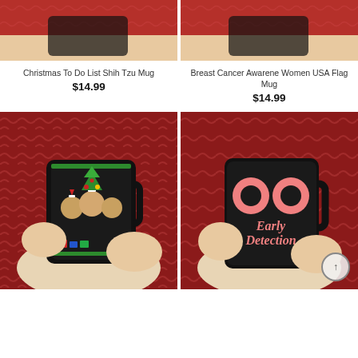[Figure (photo): Top-cropped product image of a mug with Christmas Shih Tzu design, held by hands against red sweater background]
[Figure (photo): Top-cropped product image of a mug with Breast Cancer Awareness USA Flag design, held by hands against red sweater background]
Christmas To Do List Shih Tzu Mug
$14.99
Breast Cancer Awarene Women USA Flag Mug
$14.99
[Figure (photo): Black mug with Christmas golden retrievers/dogs scene with Christmas tree and decorations in ugly sweater style, held by hands against red Christmas sweater background]
[Figure (photo): Black mug with pink donuts/circles design and 'Early Detection' text in pink script lettering, held by hands against red Christmas sweater background]